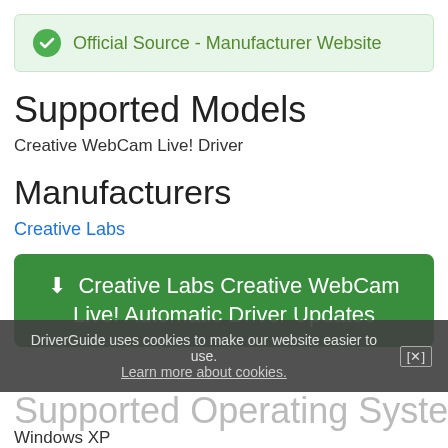Official Source - Manufacturer Website
Supported Models
Creative WebCam Live! Driver
Manufacturers
Creative Labs
Creative Labs Creative WebCam Live! Automatic Driver Updates
DriverGuide uses cookies to make our website easier to use. Learn more about cookies. [x]
Supported Operating Systems
Windows XP